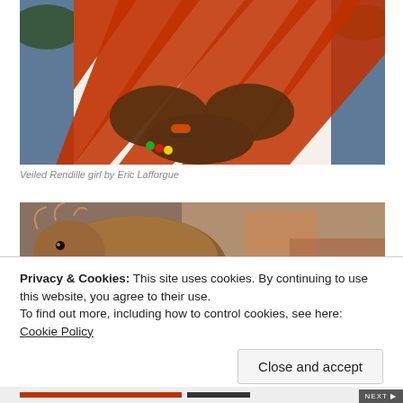[Figure (photo): Person with crossed arms wearing a red and white striped garment, with colorful bracelets on wrist, blue sky and trees in background.]
Veiled Rendille girl by Eric Lafforgue
[Figure (photo): Close-up of an animal (possibly a goat or sheep) with reddish fur and decorative items, colorful textile in background.]
Privacy & Cookies: This site uses cookies. By continuing to use this website, you agree to their use.
To find out more, including how to control cookies, see here: Cookie Policy